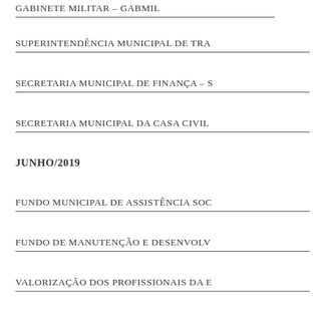GABINETE MILITAR – GABMIL
SUPERINTENDÊNCIA MUNICIPAL DE TRA
SECRETARIA MUNICIPAL DE FINANÇA – S
SECRETARIA MUNICIPAL DA CASA CIVIL
JUNHO/2019
FUNDO MUNICIPAL DE ASSISTÊNCIA SOC
FUNDO DE MANUTENÇÃO E DESENVOLV
VALORIZAÇÃO DOS PROFISSIONAIS DA E